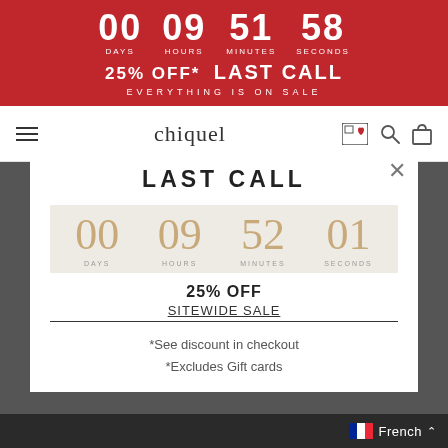[Figure (screenshot): Red promotional banner with countdown timer showing 00 days, 09 hours, 51 minutes, 58 seconds, and text '25% OFF* LAST CALL - EVERYTHING IS ON SALE']
chiquel
LAST CALL
[Figure (infographic): Countdown timer in modal showing 00 DAYS, 09 HOURS, 52 MINUTES, 01 SECONDS in gold/tan digits on light gray background]
25% OFF
SITEWIDE SALE
*See discount in checkout
*Excludes Gift cards
French